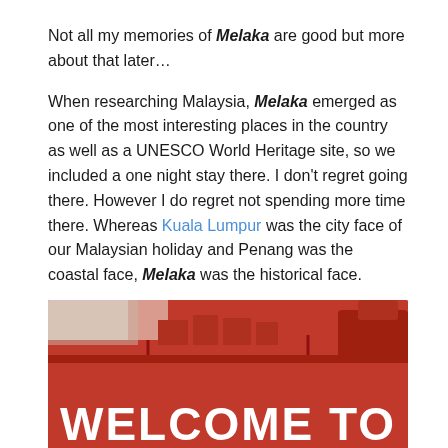Not all my memories of Melaka are good but more about that later…
When researching Malaysia, Melaka emerged as one of the most interesting places in the country as well as a UNESCO World Heritage site, so we included a one night stay there. I don't regret going there. However I do regret not spending more time there. Whereas Kuala Lumpur was the city face of our Malaysian holiday and Penang was the coastal face, Melaka was the historical face.
[Figure (photo): A red building facade with a large white bold text sign reading 'WELCOME TO MELAKA' partially visible, with decorative roofline elements against a light sky.]